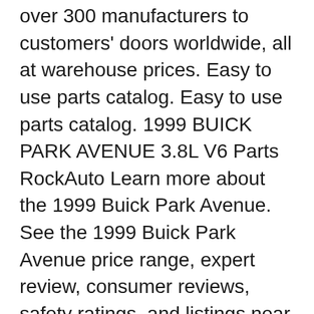over 300 manufacturers to customers' doors worldwide, all at warehouse prices. Easy to use parts catalog. Easy to use parts catalog. 1999 BUICK PARK AVENUE 3.8L V6 Parts RockAuto Learn more about the 1999 Buick Park Avenue. See the 1999 Buick Park Avenue price range, expert review, consumer reviews, safety ratings, and listings near you.
Buick Park Avenue Service and Repair Manuals Every Manual available online - found by our community and shared for FREE. Enjoy! Buick Park Avenue The nameplate Park Avenue is derived from the famous New York Boulevard and was introduced in 1975 as an option package of Buick Electra 225 Limited. In 1991, it was introduced as a separate model and since then